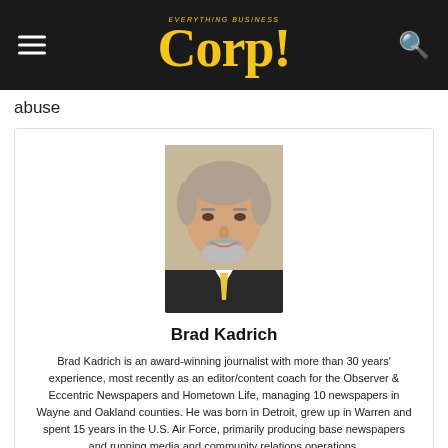Corp! Everything Business
abuse
[Figure (photo): Headshot of Brad Kadrich, a middle-aged man with grey hair and beard, wearing a dark suit jacket and yellow tie]
Brad Kadrich
Brad Kadrich is an award-winning journalist with more than 30 years' experience, most recently as an editor/content coach for the Observer & Eccentric Newspapers and Hometown Life, managing 10 newspapers in Wayne and Oakland counties. He was born in Detroit, grew up in Warren and spent 15 years in the U.S. Air Force, primarily producing base newspapers and running media and community relations operations.